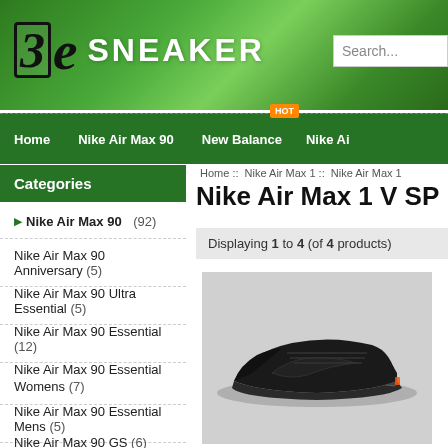[Figure (screenshot): 3e Sneaker website header with green gradient background and logo]
3e SNEAKER
Search...
HOT
Home  Nike Air Max 90  New Balance  Nike Ai
Home :: Nike Air Max 1 :: Nike Air Max 1
Nike Air Max 1 V SP
Categories
Nike Air Max 90 (92)
Nike Air Max 90 Anniversary (5)
Nike Air Max 90 Ultra Essential (5)
Nike Air Max 90 Essential (12)
Nike Air Max 90 Essential Womens (7)
Nike Air Max 90 Essential Mens (5)
Nike Air Max 90 GS (6)
Displaying 1 to 4 (of 4 products)
[Figure (photo): Black Nike Air Max 1 sneaker on gray background]